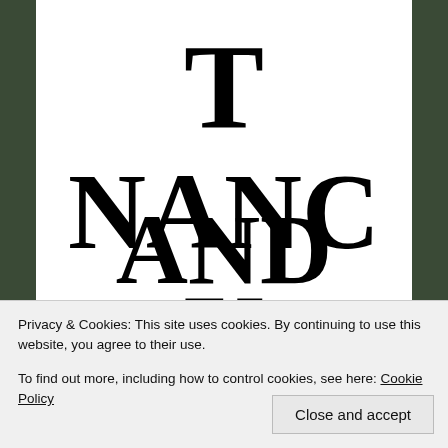T
NANC
Y
Privacy & Cookies: This site uses cookies. By continuing to use this website, you agree to their use.
To find out more, including how to control cookies, see here: Cookie Policy
Close and accept
AND